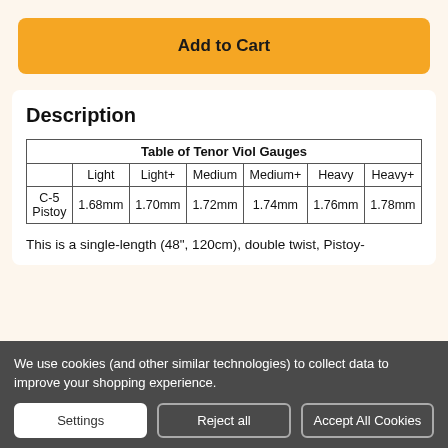Add to Cart
Description
|  | Light | Light+ | Medium | Medium+ | Heavy | Heavy+ |
| --- | --- | --- | --- | --- | --- | --- |
| C-5 Pistoy | 1.68mm | 1.70mm | 1.72mm | 1.74mm | 1.76mm | 1.78mm |
This is a single-length (48", 120cm), double twist, Pistoy-
We use cookies (and other similar technologies) to collect data to improve your shopping experience.
Settings
Reject all
Accept All Cookies